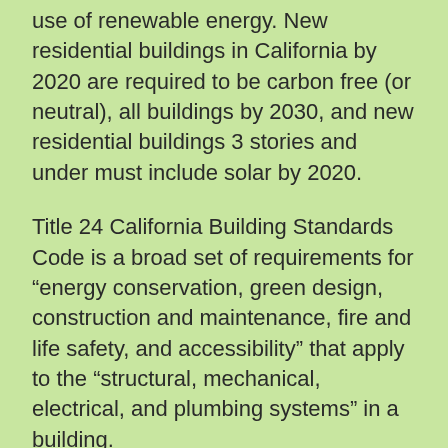use of renewable energy. New residential buildings in California by 2020 are required to be carbon free (or neutral), all buildings by 2030, and new residential buildings 3 stories and under must include solar by 2020.
Title 24 California Building Standards Code is a broad set of requirements for “energy conservation, green design, construction and maintenance, fire and life safety, and accessibility” that apply to the “structural, mechanical, electrical, and plumbing systems” in a building.
New York should be more aggressive in requiring local communities to adopt energy building measures such as STRETCH[1].